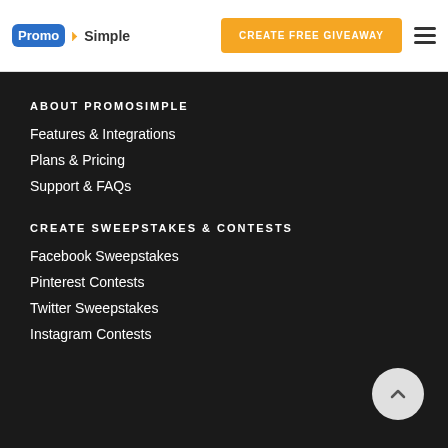PromoSimple — CREATE FREE GIVEAWAY
ABOUT PROMOSIMPLE
Features & Integrations
Plans & Pricing
Support & FAQs
CREATE SWEEPSTAKES & CONTESTS
Facebook Sweepstakes
Pinterest Contests
Twitter Sweepstakes
Instagram Contests